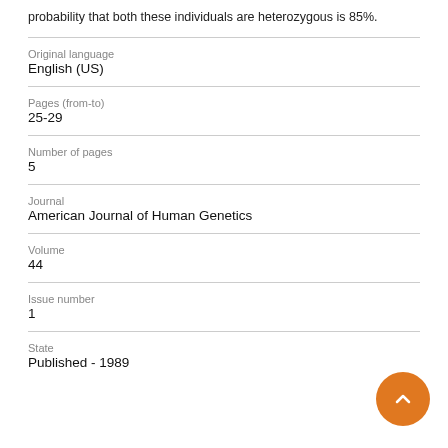probability that both these individuals are heterozygous is 85%.
| Original language | English (US) |
| Pages (from-to) | 25-29 |
| Number of pages | 5 |
| Journal | American Journal of Human Genetics |
| Volume | 44 |
| Issue number | 1 |
| State | Published - 1989 |